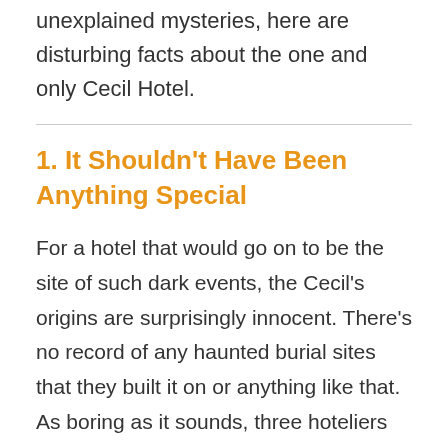unexplained mysteries, here are disturbing facts about the one and only Cecil Hotel.
1. It Shouldn't Have Been Anything Special
For a hotel that would go on to be the site of such dark events, the Cecil's origins are surprisingly innocent. There's no record of any haunted burial sites that they built it on or anything like that. As boring as it sounds, three hoteliers simply invested some money